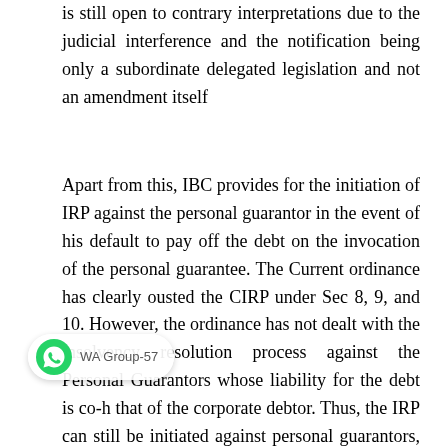is still open to contrary interpretations due to the judicial interference and the notification being only a subordinate delegated legislation and not an amendment itself
Apart from this, IBC provides for the initiation of IRP against the personal guarantor in the event of his default to pay off the debt on the invocation of the personal guarantee. The Current ordinance has clearly ousted the CIRP under Sec 8, 9, and 10. However, the ordinance has not dealt with the insolvency resolution process against the Personal Guarantors whose liability for the debt is co-[extensive wit]h that of the corporate debtor. Thus, the IRP can still be initiated against personal guarantors, which shall further cause an
[Figure (other): WhatsApp notification overlay showing 'WA Group-57' with WhatsApp logo icon]